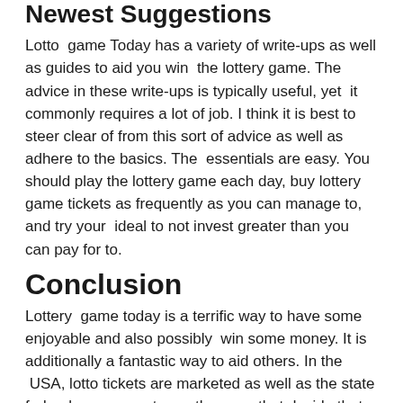Newest Suggestions
Lotto  game Today has a variety of write-ups as well as guides to aid you win  the lottery game. The advice in these write-ups is typically useful, yet  it commonly requires a lot of job. I think it is best to steer clear of from this sort of advice as well as adhere to the basics. The  essentials are easy. You should play the lottery game each day, buy lottery game tickets as frequently as you can manage to, and try your  ideal to not invest greater than you can pay for to.
Conclusion
Lottery  game today is a terrific way to have some enjoyable and also possibly  win some money. It is additionally a fantastic way to aid others. In the  USA, lotto tickets are marketed as well as the state federal governments are the ones that decide that gets the money. The money is  after that split up in between individuals of the state. There